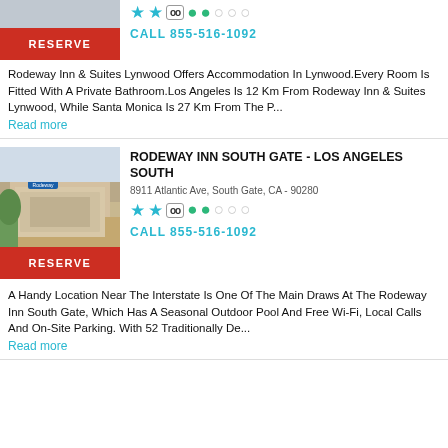[Figure (photo): Hotel exterior image placeholder (top, partially visible)]
RESERVE
CALL 855-516-1092
Rodeway Inn & Suites Lynwood Offers Accommodation In Lynwood.Every Room Is Fitted With A Private Bathroom.Los Angeles Is 12 Km From Rodeway Inn & Suites Lynwood, While Santa Monica Is 27 Km From The P...
Read more
RODEWAY INN SOUTH GATE - LOS ANGELES SOUTH
8911 Atlantic Ave, South Gate, CA - 90280
[Figure (photo): Rodeway Inn South Gate exterior photo showing building facade]
RESERVE
CALL 855-516-1092
A Handy Location Near The Interstate Is One Of The Main Draws At The Rodeway Inn South Gate, Which Has A Seasonal Outdoor Pool And Free Wi-Fi, Local Calls And On-Site Parking. With 52 Traditionally De...
Read more